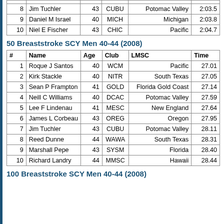| 8 | Jim Tuchler | 43 | CUBU | Potomac Valley | 2:03.5 |
| 9 | Daniel M Israel | 40 | MICH | Michigan | 2:03.8 |
| 10 | Niel E Fischer | 43 | CHIC | Pacific | 2:04.7 |
50 Breaststroke SCY Men 40-44 (2008)
| # | Name | Age | Club | LMSC | Time |
| --- | --- | --- | --- | --- | --- |
| 1 | Roque J Santos | 40 | WCM | Pacific | 27.01 |
| 2 | Kirk Stackle | 40 | NITR | South Texas | 27.05 |
| 3 | Sean P Frampton | 41 | GOLD | Florida Gold Coast | 27.14 |
| 4 | Neill C Williams | 40 | DCAC | Potomac Valley | 27.59 |
| 5 | Lee F Lindenau | 41 | MESC | New England | 27.64 |
| 6 | James L Corbeau | 43 | OREG | Oregon | 27.95 |
| 7 | Jim Tuchler | 43 | CUBU | Potomac Valley | 28.11 |
| 8 | Reed Dunne | 44 | WAWA | South Texas | 28.31 |
| 9 | Marshall Pepe | 43 | SYSM | Florida | 28.40 |
| 10 | Richard Landry | 44 | MMSC | Hawaii | 28.44 |
100 Breaststroke SCY Men 40-44 (2008)